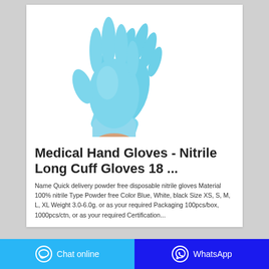[Figure (photo): Two blue nitrile medical examination gloves — one open hand displayed upright, one being donned over a wrist — on a white background.]
Medical Hand Gloves - Nitrile Long Cuff Gloves 18 ...
Name Quick delivery powder free disposable nitrile gloves Material 100% nitrile Type Powder free Color Blue, White, black Size XS, S, M, L, XL Weight 3.0-6.0g. or as your required Packaging 100pcs/box, 1000pcs/ctn, or as your required Certification...